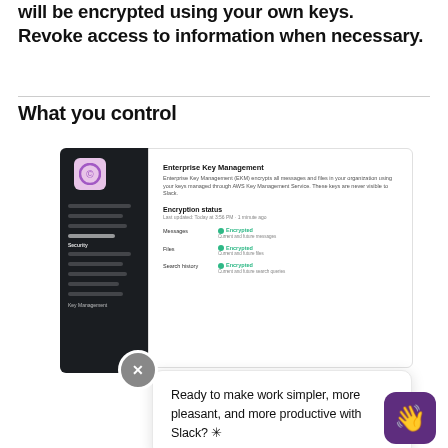will be encrypted using your own keys. Revoke access to information when necessary.
What you control
[Figure (screenshot): Screenshot of Slack Enterprise Key Management settings panel showing dark sidebar and white content area with encryption status for messages, files, and search history, all showing Encrypted status in green. Overlaid with a chat popup reading 'Ready to make work simpler, more pleasant, and more productive with Slack? ✳' and a purple wave button.]